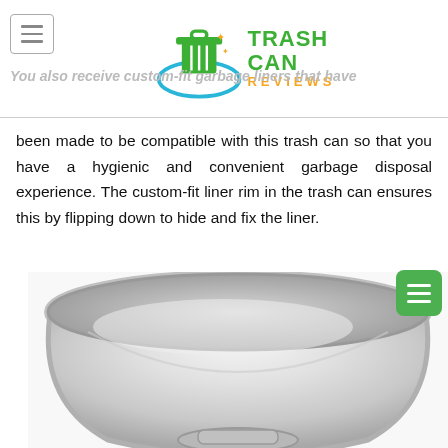Trash Can Reviews
You also receive custom-fit garbage liners that have been made to be compatible with this trash can so that you have a hygienic and convenient garbage disposal experience. The custom-fit liner rim in the trash can ensures this by flipping down to hide and fix the liner.
[Figure (photo): Close-up photo of the open top interior of a round stainless steel trash can lid/bucket, viewed from above, showing the brushed metal rim and interior bowl.]